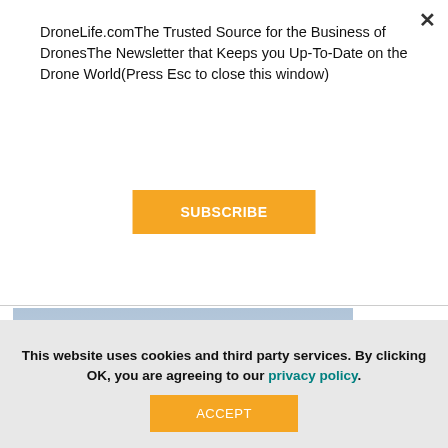DroneLife.comThe Trusted Source for the Business of DronesThe Newsletter that Keeps you Up-To-Date on the Drone World(Press Esc to close this window)
SUBSCRIBE
[Figure (photo): Close-up photo of a large industrial drone (IF1200A) in flight against a blue-grey sky with blurred trees in background. Text overlay reads 'THE ALL NEW IF1200A' with orange accent on 'IF'.]
This website uses cookies and third party services. By clicking OK, you are agreeing to our privacy policy.
ACCEPT